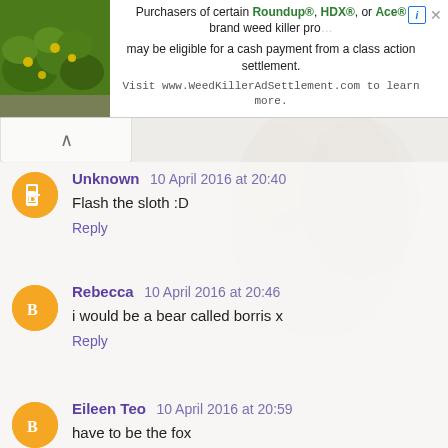[Figure (screenshot): Advertisement banner for WeedKillerAdSettlement.com. Left side shows a green plant/bush photo. Right side shows text about Roundup, HDX, and Ace brand weed killer class action settlement.]
Purchasers of certain Roundup®, HDX®, or Ace® brand weed killer products may be eligible for a cash payment from a class action settlement. Visit www.WeedKillerAdSettlement.com to learn more.
Unknown  10 April 2016 at 20:40
Flash the sloth :D
Reply
Rebecca  10 April 2016 at 20:46
i would be a bear called borris x
Reply
Eileen Teo  10 April 2016 at 20:59
have to be the fox
Reply